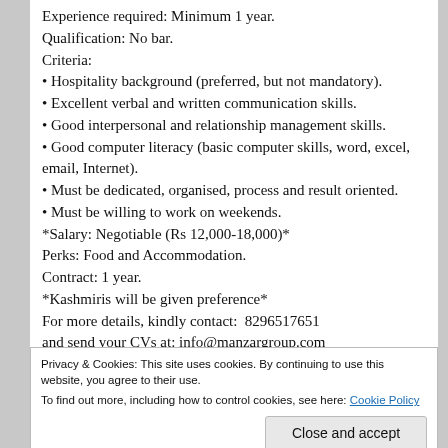Experience required: Minimum 1 year.
Qualification: No bar.
Criteria:
Hospitality background (preferred, but not mandatory).
Excellent verbal and written communication skills.
Good interpersonal and relationship management skills.
Good computer literacy (basic computer skills, word, excel, email, Internet).
Must be dedicated, organised, process and result oriented.
Must be willing to work on weekends.
*Salary: Negotiable (Rs 12,000-18,000)*
Perks: Food and Accommodation.
Contract: 1 year.
*Kashmiris will be given preference*
For more details, kindly contact:  8296517651
and send your CVs at: info@manzargroup.com
Privacy & Cookies: This site uses cookies. By continuing to use this website, you agree to their use. To find out more, including how to control cookies, see here: Cookie Policy
Close and accept